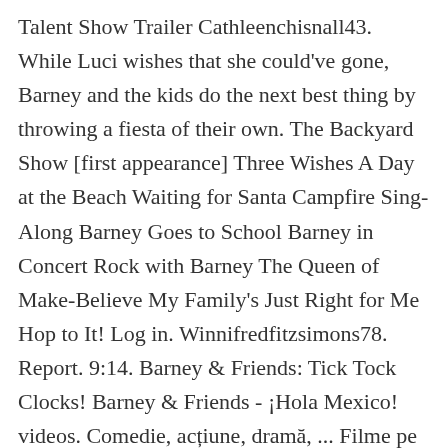Talent Show Trailer Cathleenchisnall43. While Luci wishes that she could've gone, Barney and the kids do the next best thing by throwing a fiesta of their own. The Backyard Show [first appearance] Three Wishes A Day at the Beach Waiting for Santa Campfire Sing-Along Barney Goes to School Barney in Concert Rock with Barney The Queen of Make-Believe My Family's Just Right for Me Hop to It! Log in. Winnifredfitzsimons78. Report. 9:14. Barney & Friends: Tick Tock Clocks! Barney & Friends - ¡Hola Mexico! videos. Comedie, acțiune, dramă, ... Filme pe genuri. This was the longest season in terms of number of episodes (30 episodes). Stephen White (played Rainbow Beard the Pirate in "The Treasure of Rainbow Beard") Luci gets a letter from her grandfather explaining how his birthday party was in Mexico and how he wished she could've been there